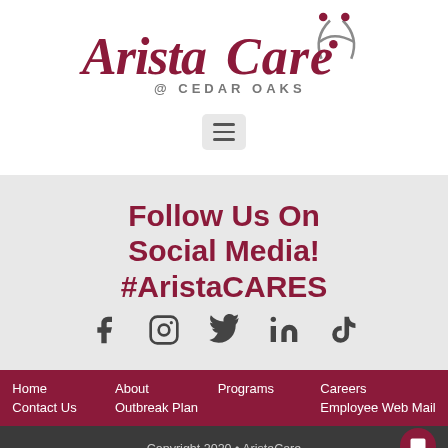[Figure (logo): AristaCare @ Cedar Oaks logo with stylized figures icon and italic serif wordmark in dark red]
[Figure (infographic): Hamburger menu button (three horizontal lines) on light gray rounded background]
Follow Us On Social Media! #AristaCARES
[Figure (infographic): Social media icons: Facebook, Instagram, Twitter, LinkedIn, TikTok]
Home  About  Programs  Careers  Contact Us  Outbreak Plan  Employee Web Mail
Copyright 2020 • AristaCare